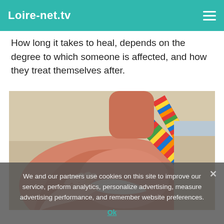Loire-net.tv
How long it takes to heal, depends on the degree to which someone is affected, and how they treat themselves after.
[Figure (photo): Close-up photo of a person applying sunscreen lotion on a sunburned shoulder, wearing a colorful striped bikini strap, with a sandy beach in the background.]
We and our partners use cookies on this site to improve our service, perform analytics, personalize advertising, measure advertising performance, and remember website preferences.